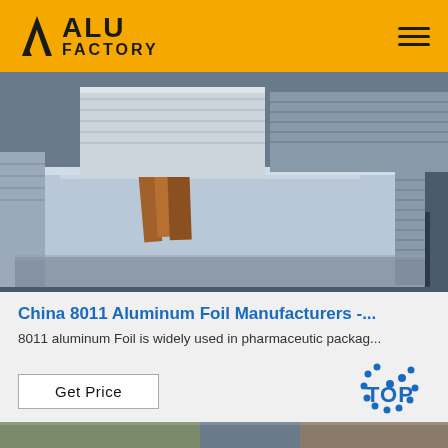ALU FACTORY
[Figure (photo): Stack of aluminum sheet/foil panels on a pallet in a factory warehouse setting]
China 8011 Aluminum Foil Manufacturers -...
8011 aluminum Foil is widely used in pharmaceutic packag...
[Figure (other): Get Price button and TOP navigation badge]
[Figure (photo): Partial view of another aluminum product image at the bottom of the page]